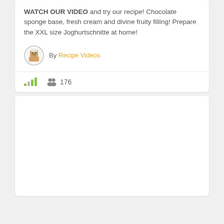WATCH OUR VIDEO and try our recipe! Chocolate sponge base, fresh cream and divine fruity filling! Prepare the XXL size Joghurtschnitte at home!
By Recipe Videos
176
[Figure (other): Empty white card placeholder below the main content card]